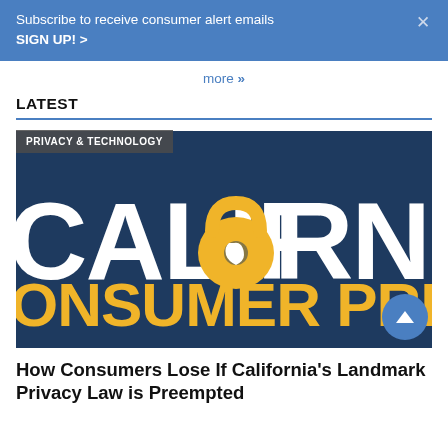Subscribe to receive consumer alert emails SIGN UP! >
more »
LATEST
[Figure (illustration): California Consumer Privacy Act promotional image with dark navy background, large white text reading 'CALIFORNIA' with a gold padlock replacing the 'O', and gold text reading 'CONSUMER PRIVACY AC'. A gray 'PRIVACY & TECHNOLOGY' category badge appears in the top-left corner.]
How Consumers Lose If California's Landmark Privacy Law is Preempted